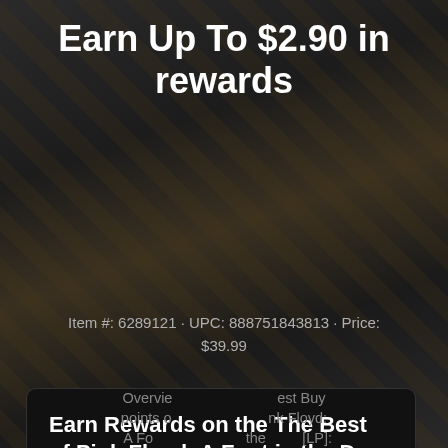Earn Up To $2.90 in rewards
Item #: 6289121 · UPC: 888751843813 · Price: $39.99
Earn Rewards on the The Best of Pink Floyd: A Foot in the Door [LP] from Pink Floyd at Best Buy - What's in this guide?
JOIN NOW!
Overview ... Best Buy points o... nk Floyd: A Fo... the ... [LP]